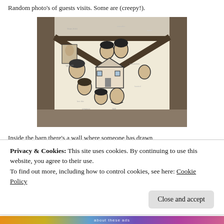Random photo's of guests visits. Some are (creepy!).
[Figure (photo): Interior of a barn showing a wall mural/drawing with portraits of axe murder victims and a house, surrounded by visitor signatures. Wooden beams frame the image.]
Inside the barn there's a wall where someone has drawn 'disturbing' images of the axe murder victims.
Privacy & Cookies: This site uses cookies. By continuing to use this website, you agree to their use. To find out more, including how to control cookies, see here: Cookie Policy
Close and accept